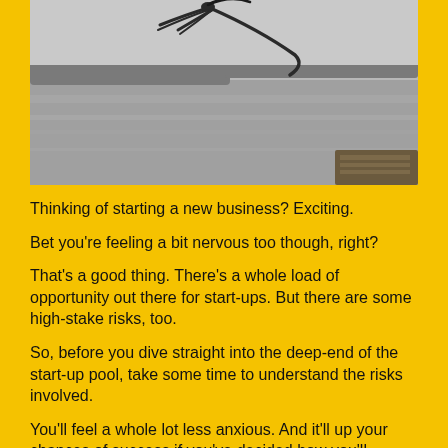[Figure (photo): Black and white photograph of a person diving into a body of water, with a wooden dock visible at the bottom right and a tree line in the background.]
Thinking of starting a new business? Exciting.
Bet you're feeling a bit nervous too though, right?
That's a good thing. There's a whole load of opportunity out there for start-ups. But there are some high-stake risks, too.
So, before you dive straight into the deep-end of the start-up pool, take some time to understand the risks involved.
You'll feel a whole lot less anxious. And it'll up your chances of success if you've decided how you'll